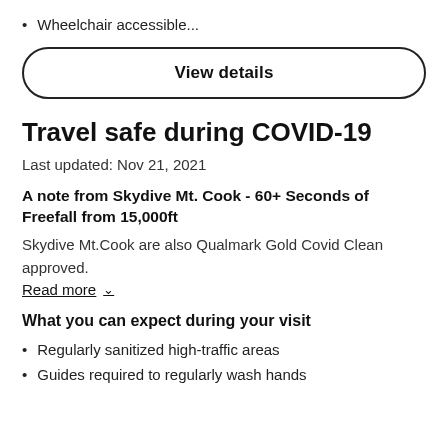Wheelchair accessible...
View details
Travel safe during COVID-19
Last updated: Nov 21, 2021
A note from Skydive Mt. Cook - 60+ Seconds of Freefall from 15,000ft
Skydive Mt.Cook are also Qualmark Gold Covid Clean approved.
Read more
What you can expect during your visit
Regularly sanitized high-traffic areas
Guides required to regularly wash hands